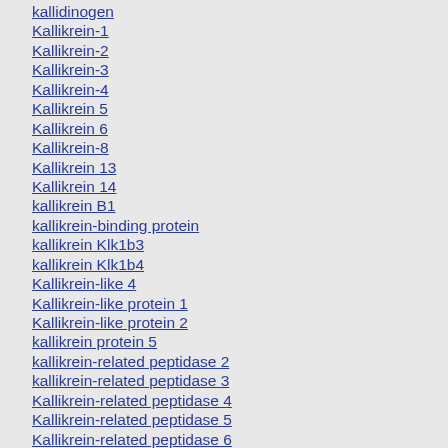kallidinogen
Kallikrein-1
Kallikrein-2
Kallikrein-3
Kallikrein-4
Kallikrein 5
Kallikrein 6
Kallikrein-8
Kallikrein 13
Kallikrein 14
kallikrein B1
kallikrein-binding protein
kallikrein Klk1b3
kallikrein Klk1b4
Kallikrein-like 4
Kallikrein-like protein 1
Kallikrein-like protein 2
kallikrein protein 5
kallikrein-related peptidase 2
kallikrein-related peptidase 3
Kallikrein-related peptidase 4
Kallikrein-related peptidase 5
Kallikrein-related peptidase 6
Kallikrein-related peptidase 8
kallikrein-related peptidase 13
Kallikrein-related peptidase 14
kallikrein-related peptidase-like 4
Kallikreins
Kallistatin